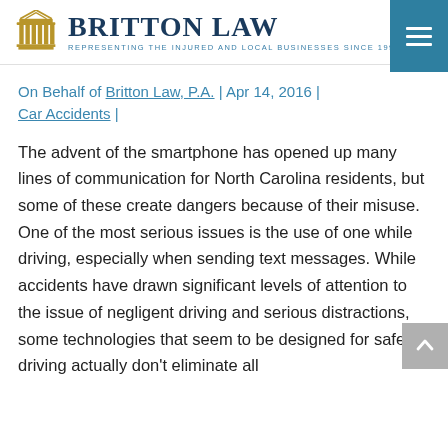BRITTON LAW — REPRESENTING THE INJURED AND LOCAL BUSINESSES SINCE 1992
On Behalf of Britton Law, P.A. | Apr 14, 2016 | Car Accidents |
The advent of the smartphone has opened up many lines of communication for North Carolina residents, but some of these create dangers because of their misuse. One of the most serious issues is the use of one while driving, especially when sending text messages. While accidents have drawn significant levels of attention to the issue of negligent driving and serious distractions, some technologies that seem to be designed for safer driving actually don't eliminate all